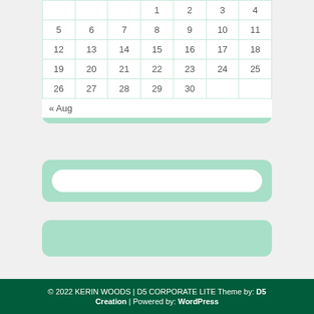| Sun | Mon | Tue | Wed | Thu | Fri | Sat |
| --- | --- | --- | --- | --- | --- | --- |
|  |  |  | 1 | 2 | 3 | 4 |
| 5 | 6 | 7 | 8 | 9 | 10 | 11 |
| 12 | 13 | 14 | 15 | 16 | 17 | 18 |
| 19 | 20 | 21 | 22 | 23 | 24 | 25 |
| 26 | 27 | 28 | 29 | 30 |  |  |
« Aug
[Figure (other): Search input box with rounded corners inside a mint green rounded container]
[Figure (other): Mint green rounded button/bar element]
© 2022 KERIN WOODS | D5 CORPORATE LITE Theme by: D5 Creation | Powered by: WordPress